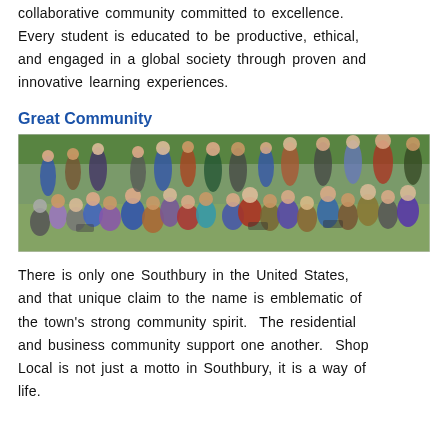collaborative community committed to excellence. Every student is educated to be productive, ethical, and engaged in a global society through proven and innovative learning experiences.
Great Community
[Figure (photo): Outdoor community gathering with a large group of children and adults sitting and standing on grass, trees in background.]
There is only one Southbury in the United States, and that unique claim to the name is emblematic of the town's strong community spirit. The residential and business community support one another. Shop Local is not just a motto in Southbury, it is a way of life.